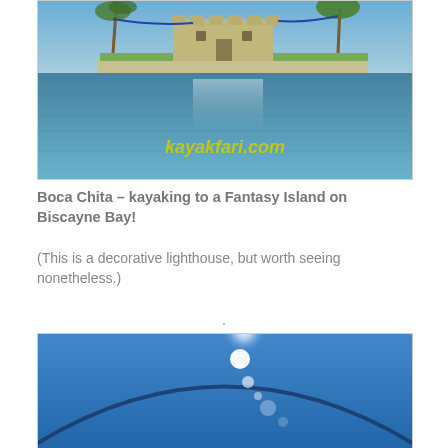[Figure (photo): Photograph of Boca Chita fort/lighthouse on a small island surrounded by blue water of Biscayne Bay, with kayakfari.com watermark text in the lower portion]
Boca Chita – kayaking to a Fantasy Island on Biscayne Bay!
(This is a decorative lighthouse, but worth seeing nonetheless.)
.
[Figure (photo): Photograph showing close-up of a blue kayak hull or sphere against blue sky, with sun reflection and lens flare visible]